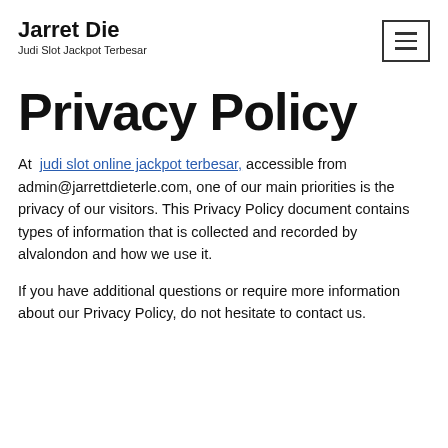Jarret Die — Judi Slot Jackpot Terbesar
Privacy Policy
At judi slot online jackpot terbesar, accessible from admin@jarrettdieterle.com, one of our main priorities is the privacy of our visitors. This Privacy Policy document contains types of information that is collected and recorded by alvalondon and how we use it.
If you have additional questions or require more information about our Privacy Policy, do not hesitate to contact us.